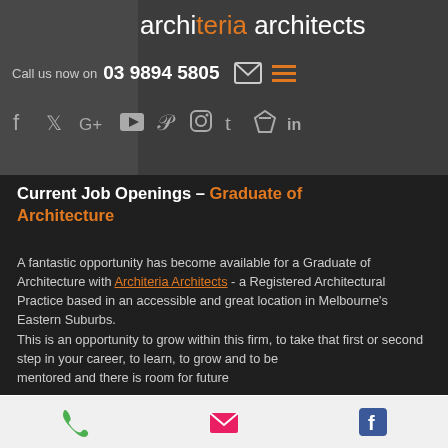architeria architects
Call us now on  03 9894 5805
[Figure (screenshot): Social media icons row: Facebook, Twitter, Google+, YouTube, Pinterest, Instagram, Tumblr, Houzz, LinkedIn]
Current Job Openings - Graduate of Architecture
A fantastic opportunity has become available for a Graduate of Architecture with Architeria Architects - a Registered Architectural Practice based in an accessible and great location in Melbourne's Eastern Suburbs. This is an opportunity to grow within this firm, to take that first or second step in your career, to learn, to grow and to be mentored and there is room for future
[Figure (screenshot): Bottom navigation bar with phone icon (green), email icon (pink/red), and Facebook icon (blue)]